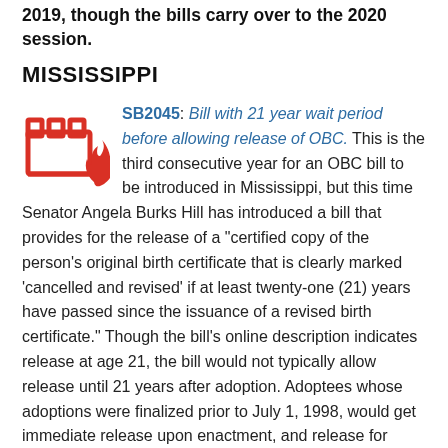2019, though the bills carry over to the 2020 session.
MISSISSIPPI
[Figure (illustration): Icon of a building with flames, suggesting a fire/legislation icon, in red/orange color]
SB2045: Bill with 21 year wait period before allowing release of OBC. This is the third consecutive year for an OBC bill to be introduced in Mississippi, but this time Senator Angela Burks Hill has introduced a bill that provides for the release of a "certified copy of the person's original birth certificate that is clearly marked 'cancelled and revised' if at least twenty-one (21) years have passed since the issuance of a revised birth certificate." Though the bill's online description indicates release at age 21, the bill would not typically allow release until 21 years after adoption. Adoptees whose adoptions were finalized prior to July 1, 1998, would get immediate release upon enactment, and release for others will depend